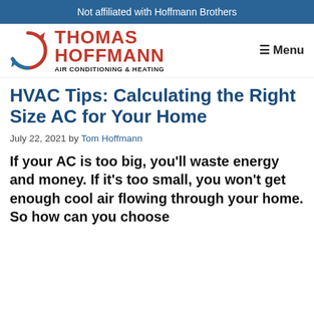Not affiliated with Hoffmann Brothers
[Figure (logo): Thomas Hoffmann Air Conditioning & Heating logo with circular arrow icon in red and blue, company name in red bold text, and tagline in black. Menu button on the right.]
HVAC Tips: Calculating the Right Size AC for Your Home
July 22, 2021 by Tom Hoffmann
If your AC is too big, you’ll waste energy and money. If it’s too small, you won’t get enough cool air flowing through your home. So how can you choose